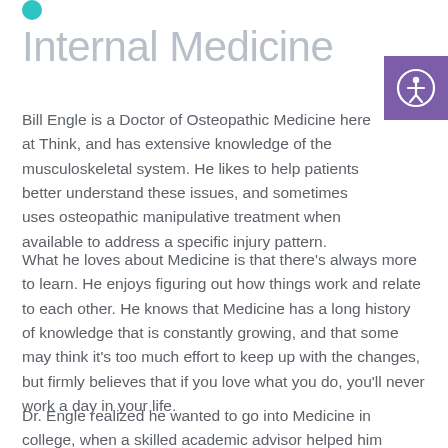Internal Medicine
[Figure (logo): Small teal circle dot above the title text]
[Figure (illustration): Purple accessibility button with person icon (circle with stick figure inside) in top right corner]
Bill Engle is a Doctor of Osteopathic Medicine here at Think, and has extensive knowledge of the musculoskeletal system. He likes to help patients better understand these issues, and sometimes uses osteopathic manipulative treatment when available to address a specific injury pattern.
What he loves about Medicine is that there’s always more to learn. He enjoys figuring out how things work and relate to each other. He knows that Medicine has a long history of knowledge that is constantly growing, and that some may think it’s too much effort to keep up with the changes, but firmly believes that if you love what you do, you’ll never work a day in your life.
Dr. Engle realized he wanted to go into Medicine in college, when a skilled academic advisor helped him